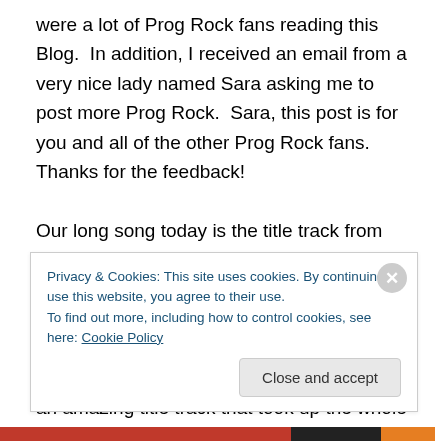were a lot of Prog Rock fans reading this Blog.  In addition, I received an email from a very nice lady named Sara asking me to post more Prog Rock.  Sara, this post is for you and all of the other Prog Rock fans.  Thanks for the feedback!
Our long song today is the title track from the first Prog Rock album that I ever purchased…Tarkus from the amazing Emerson, Lake, and Palmer.  It was released in 1971, had an amazing cover (the CD version does not do it justice), and an amazing title track that took up the whole
Privacy & Cookies: This site uses cookies. By continuing to use this website, you agree to their use.
To find out more, including how to control cookies, see here: Cookie Policy
Close and accept